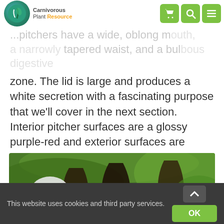Carnivorous Plant Resource
...pitchers have a wide, oblong mouth, a narrowly tapered waist, and a bulbous digestive zone. The lid is large and produces a white secretion with a fascinating purpose that we'll cover in the next section. Interior pitcher surfaces are a glossy purple-red and exterior surfaces are mostly light green. N. lowii pitchers can grow to about a foot in height, and are a thick, woody texture. When dried, they retain their shape, and make nice specimen pieces.
[Figure (photo): Close-up photograph of Nepenthes lowii pitcher plants showing green leaves, dark reddish-brown pitcher openings, and white secretion on the lid.]
This website uses cookies and third party services.